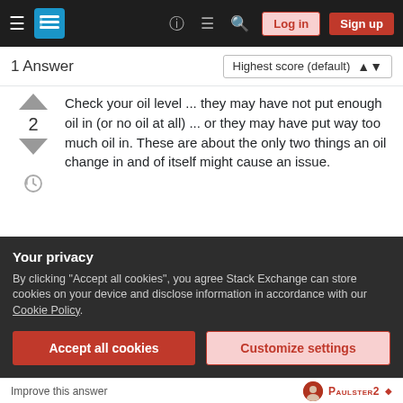Navigation bar with Stack Exchange logo, Log in, Sign up buttons
1 Answer — Highest score (default)
Check your oil level ... they may have not put enough oil in (or no oil at all) ... or they may have put way too much oil in. These are about the only two things an oil change in and of itself might cause an issue.
If you were thinking by changing from conventional oil to synthetic oil the engine would run smoother, this is a fallacy. Synthetic will not change how an
Your privacy
By clicking "Accept all cookies", you agree Stack Exchange can store cookies on your device and disclose information in accordance with our Cookie Policy.
Accept all cookies   Customize settings
Improve this answer   PAULSTER2 ◆